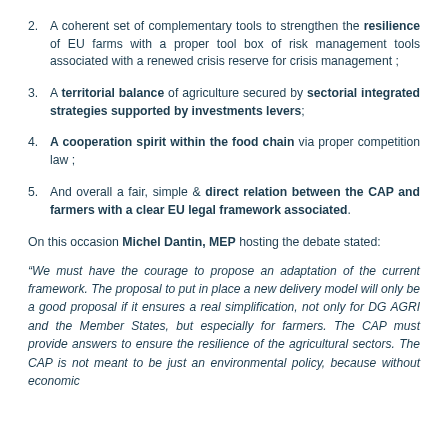2. A coherent set of complementary tools to strengthen the resilience of EU farms with a proper tool box of risk management tools associated with a renewed crisis reserve for crisis management ;
3. A territorial balance of agriculture secured by sectorial integrated strategies supported by investments levers;
4. A cooperation spirit within the food chain via proper competition law ;
5. And overall a fair, simple & direct relation between the CAP and farmers with a clear EU legal framework associated.
On this occasion Michel Dantin, MEP hosting the debate stated:
“We must have the courage to propose an adaptation of the current framework. The proposal to put in place a new delivery model will only be a good proposal if it ensures a real simplification, not only for DG AGRI and the Member States, but especially for farmers. The CAP must provide answers to ensure the resilience of the agricultural sectors. The CAP is not meant to be just an environmental policy, because without economic